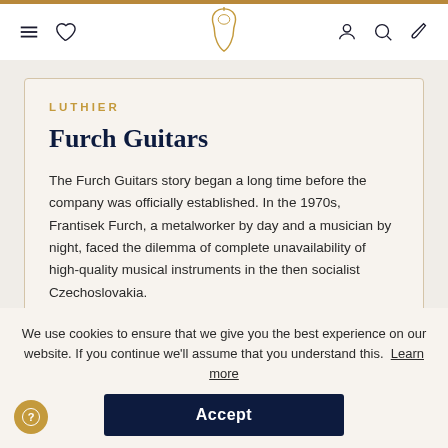Navigation bar with menu, heart, logo, profile, search, and guitar icons
LUTHIER
Furch Guitars
The Furch Guitars story began a long time before the company was officially established. In the 1970s, Frantisek Furch, a metalworker by day and a musician by night, faced the dilemma of complete unavailability of high-quality musical instruments in the then socialist Czechoslovakia.
We use cookies to ensure that we give you the best experience on our website. If you continue we'll assume that you understand this. Learn more
Accept